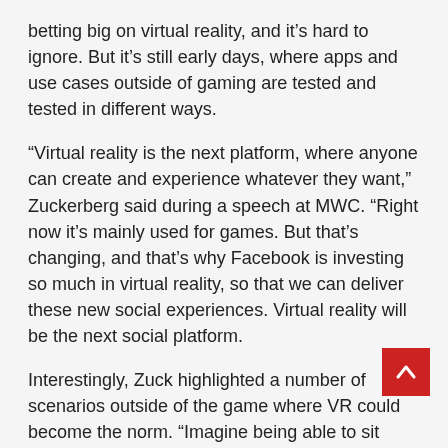betting big on virtual reality, and it's hard to ignore. But it's still early days, where apps and use cases outside of gaming are tested and tested in different ways.
“Virtual reality is the next platform, where anyone can create and experience whatever they want,” Zuckerberg said during a speech at MWC. “Right now it’s mainly used for games. But that’s changing, and that’s why Facebook is investing so much in virtual reality, so that we can deliver these new social experiences. Virtual reality will be the next social platform.
Interestingly, Zuck highlighted a number of scenarios outside of the game where VR could become the norm. “Imagine being able to sit front of a campfire and hang out with friends whenever you want,” he continued, “or being able to watch a movie in a private theater with your